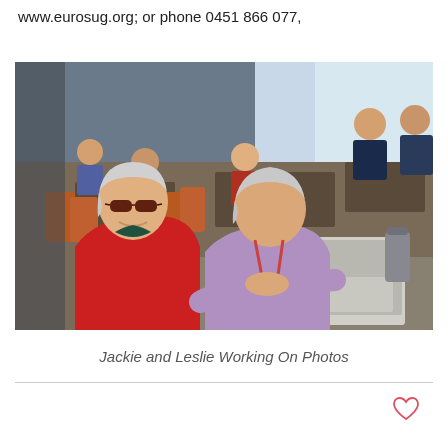www.eurosug.org; or phone 0451 866 077,
[Figure (photo): Two elderly women (Jackie and Leslie) sitting at a table working on a laptop. The woman on the left wears a red jacket and sunglasses, the woman on the right wears a purple top. Other people are seated at tables in the background in what appears to be a cafe or meeting room.]
Jackie and Leslie Working On Photos